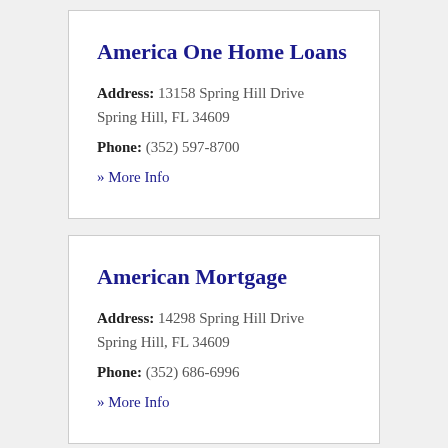America One Home Loans
Address: 13158 Spring Hill Drive Spring Hill, FL 34609
Phone: (352) 597-8700
» More Info
American Mortgage
Address: 14298 Spring Hill Drive Spring Hill, FL 34609
Phone: (352) 686-6996
» More Info
Avalon Funding